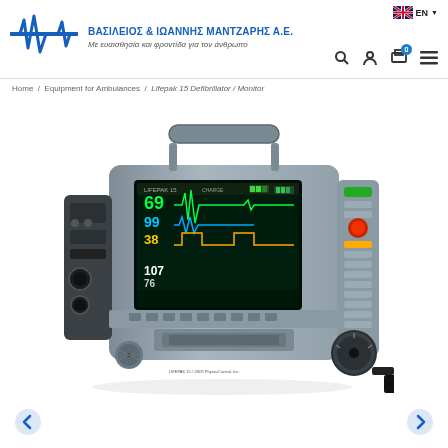ΒΑΣΙΛΕΙΟΣ & ΙΩΑΝΝΗΣ ΜΑΝΤΖΑΡΗΣ Α.Ε. — Με ευαισθησία και φροντίδα για τον άνθρωπο
Home / Equipment for Ambulances / Lifepak 15 Defibrillator / Monitor
[Figure (photo): Lifepak 15 Defibrillator/Monitor device — a grey medical defibrillator with a color LCD screen showing vital signs (heart rate 69, SpO2 99, 38, 107/76), ECG waveform, and various buttons and controls on the right panel. Handle on top, speaker and ports on left side, large energy selector knob on right.]